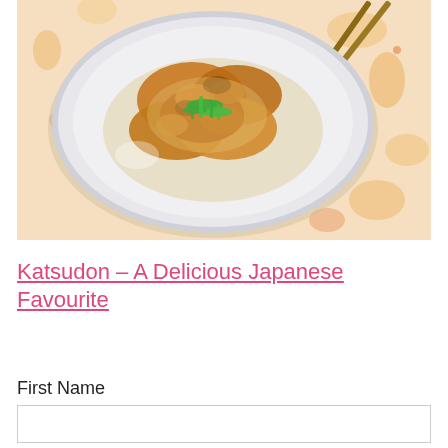[Figure (photo): Overhead view of a plate of Katsudon (Japanese breaded pork cutlet over rice) with egg and green onions, on a floral-patterned tablecloth]
Katsudon – A Delicious Japanese Favourite
First Name